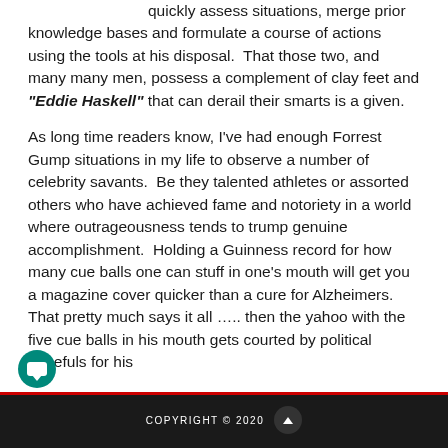quickly assess situations, merge prior knowledge bases and formulate a course of actions using the tools at his disposal.  That those two, and many many men, possess a complement of clay feet and an inner “Eddie Haskell” that can derail their smarts is a given.
As long time readers know, I’ve had enough Forrest Gump situations in my life to observe a number of celebrity savants.  Be they talented athletes or assorted others who have achieved fame and notoriety in a world where outrageousness tends to trump genuine accomplishment.  Holding a Guinness record for how many cue balls one can stuff in one’s mouth will get you a magazine cover quicker than a cure for Alzheimers.  That pretty much says it all ….. then the yahoo with the five cue balls in his mouth gets courted by political hopefuls for his
COPYRIGHT © 2020